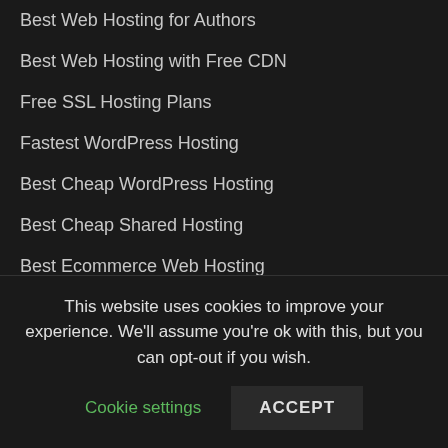Best Web Hosting for Authors
Best Web Hosting with Free CDN
Free SSL Hosting Plans
Fastest WordPress Hosting
Best Cheap WordPress Hosting
Best Cheap Shared Hosting
Best Ecommerce Web Hosting
Web Hosting Quiz
Create Your Own Website
This website uses cookies to improve your experience. We'll assume you're ok with this, but you can opt-out if you wish.
Cookie settings | ACCEPT